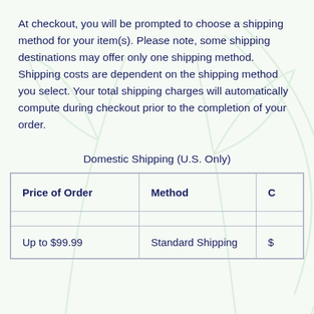At checkout, you will be prompted to choose a shipping method for your item(s). Please note, some shipping destinations may offer only one shipping method. Shipping costs are dependent on the shipping method you select. Your total shipping charges will automatically compute during checkout prior to the completion of your order.
Domestic Shipping (U.S. Only)
| Price of Order | Method | C |
| --- | --- | --- |
|  |  |  |
| Up to $99.99 | Standard Shipping | $ |